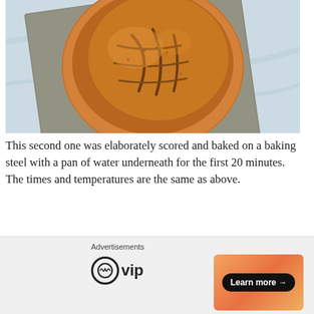[Figure (photo): A round artisan sourdough bread loaf, elaborately scored, sitting on a gray linen napkin on a light blue/white marble surface.]
This second one was elaborately scored and baked on a baking steel with a pan of water underneath for the first 20 minutes. The times and temperatures are the same as above.
[Figure (photo): Partial image of what appears to be a striped cloth or bread loaf, partially visible at the bottom of the page.]
Advertisements
[Figure (logo): WordPress VIP logo — circle W icon next to 'vip' text]
[Figure (infographic): Orange/peach gradient advertisement banner with a 'Learn more →' button in black]